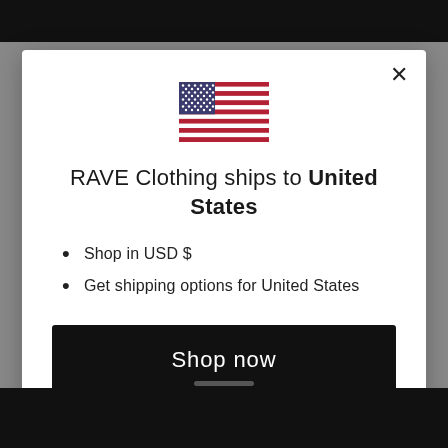[Figure (illustration): US flag emoji/icon centered at top of modal]
RAVE Clothing ships to United States
Shop in USD $
Get shipping options for United States
Shop now
Change shipping country